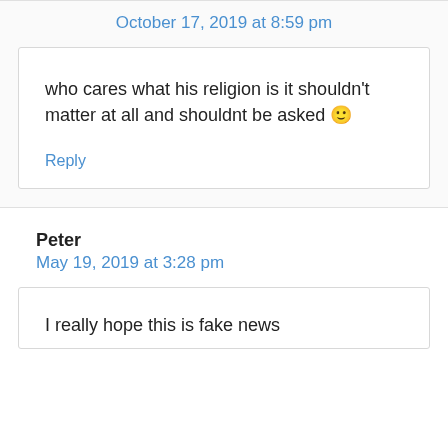October 17, 2019 at 8:59 pm
who cares what his religion is it shouldn't matter at all and shouldnt be asked 🙂
Reply
Peter
May 19, 2019 at 3:28 pm
I really hope this is fake news